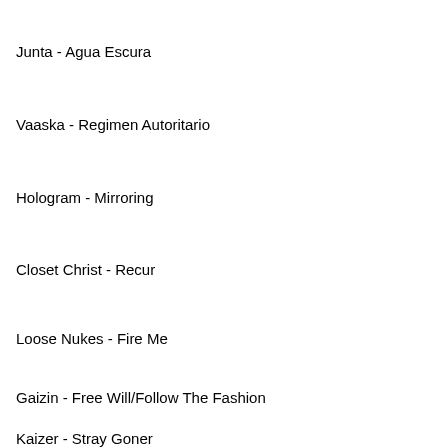Junta - Agua Escura
Vaaska - Regimen Autoritario
Hologram - Mirroring
Closet Christ - Recur
Loose Nukes - Fire Me
Gaizin - Free Will/Follow The Fashion
Kaizer - Stray Goner